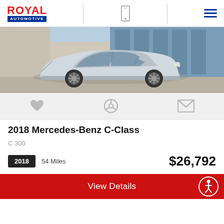ROYAL AUTOMOTIVE
[Figure (photo): Silver 2018 Mercedes-Benz C-Class sedan parked in front of a glass building exterior, side profile view]
2018 Mercedes-Benz C-Class
C 300
2018  54 Miles  $26,792
View Details